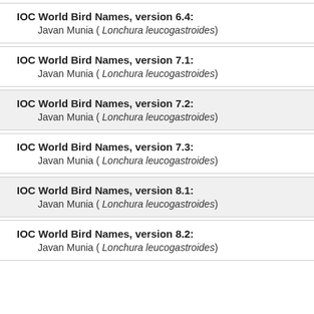IOC World Bird Names, version 6.4: Javan Munia ( Lonchura leucogastroides)
IOC World Bird Names, version 7.1: Javan Munia ( Lonchura leucogastroides)
IOC World Bird Names, version 7.2: Javan Munia ( Lonchura leucogastroides)
IOC World Bird Names, version 7.3: Javan Munia ( Lonchura leucogastroides)
IOC World Bird Names, version 8.1: Javan Munia ( Lonchura leucogastroides)
IOC World Bird Names, version 8.2: Javan Munia ( Lonchura leucogastroides)